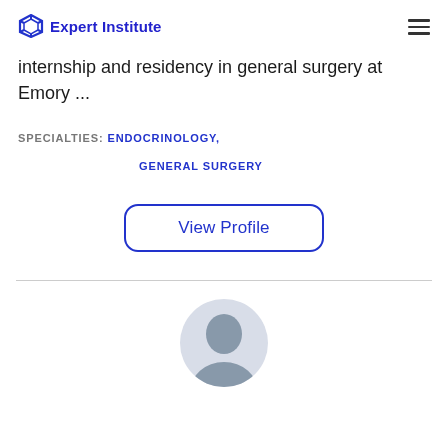Expert Institute
internship and residency in general surgery at Emory ...
SPECIALTIES:  ENDOCRINOLOGY,

GENERAL SURGERY
View Profile
[Figure (photo): Partial view of a person's head/face at the bottom of the page, cropped by page boundary]